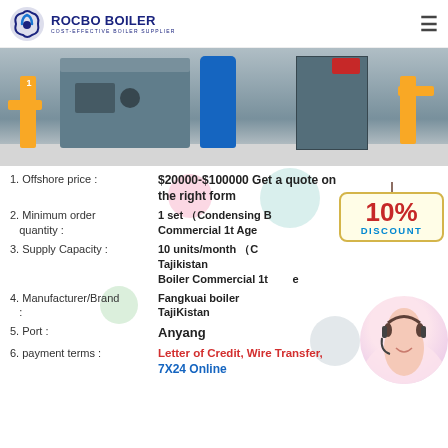[Figure (logo): Rocbo Boiler logo with circular icon and text 'ROCBO BOILER / COST-EFFECTIVE BOILER SUPPLIER']
[Figure (photo): Industrial boiler room with yellow pipes, blue cylindrical components, machinery on white floor]
1. Offshore price : $20000-$100000 Get a quote on the right form
2. Minimum order quantity : 1 set （Condensing Boiler Commercial 1t Agent Tajikistan
3. Supply Capacity : 10 units/month （Condensing Boiler Commercial 1t Tajikistan Boiler Commercial 1t ...
4. Manufacturer/Brand : Fangkuai boiler TajiKistan
5. Port : Anyang
6. payment terms : Letter of Credit, Wire Transfer, 7X24 Online
[Figure (infographic): 10% DISCOUNT sign badge overlay]
[Figure (photo): Customer service representative with headset]